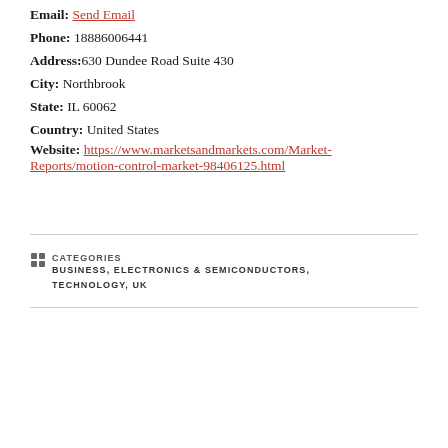Email: Send Email
Phone: 18886006441
Address: 630 Dundee Road Suite 430
City: Northbrook
State: IL 60062
Country: United States
Website: https://www.marketsandmarkets.com/Market-Reports/motion-control-market-98406125.html
CATEGORIES  BUSINESS, ELECTRONICS & SEMICONDUCTORS, TECHNOLOGY, UK